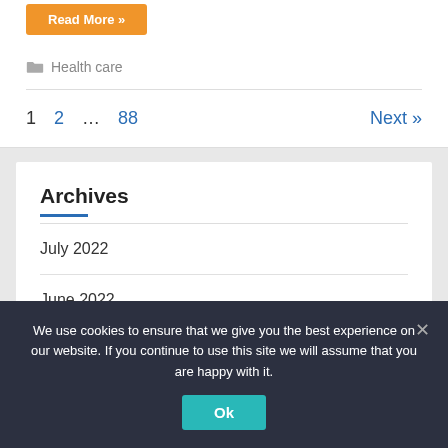Read More »
Health care
1  2  ...  88  Next »
Archives
July 2022
June 2022
We use cookies to ensure that we give you the best experience on our website. If you continue to use this site we will assume that you are happy with it.
Ok